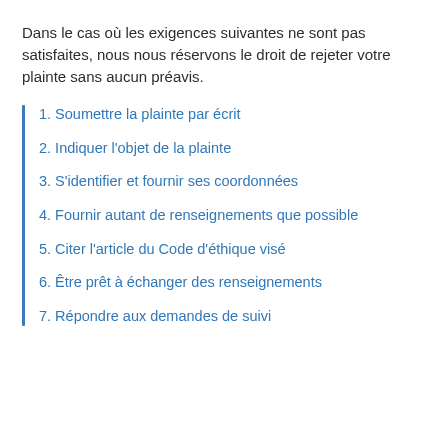Dans le cas où les exigences suivantes ne sont pas satisfaites, nous nous réservons le droit de rejeter votre plainte sans aucun préavis.
1. Soumettre la plainte par écrit
2. Indiquer l'objet de la plainte
3. S'identifier et fournir ses coordonnées
4. Fournir autant de renseignements que possible
5. Citer l'article du Code d'éthique visé
6. Être prêt à échanger des renseignements
7. Répondre aux demandes de suivi